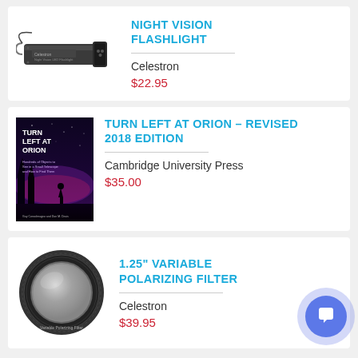[Figure (photo): Celestron Night Vision Flashlight product photo - small black rectangular flashlight with keychain]
NIGHT VISION FLASHLIGHT
Celestron
$22.95
[Figure (photo): Turn Left at Orion book cover - dark night sky scene with silhouetted trees and telescope observers]
TURN LEFT AT ORION - REVISED 2018 EDITION
Cambridge University Press
$35.00
[Figure (photo): 1.25 inch variable polarizing filter - circular optical filter with black metal rim]
1.25" VARIABLE POLARIZING FILTER
Celestron
$39.95